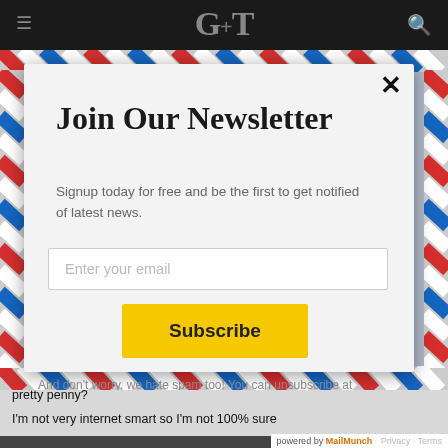[Figure (screenshot): Dark navigation bar with hamburger menu icon, GT logo, and search icon]
[Figure (infographic): Newsletter signup modal popup with airmail border decoration over a website background]
Join Our Newsletter
Signup today for free and be the first to get notified of latest news.
And don't worry, we hate spam too! You can unsubscribe at anytime.
I'm assuming having a blog like yours would cost a pretty penny?
I'm not very internet smart so I'm not 100% sure